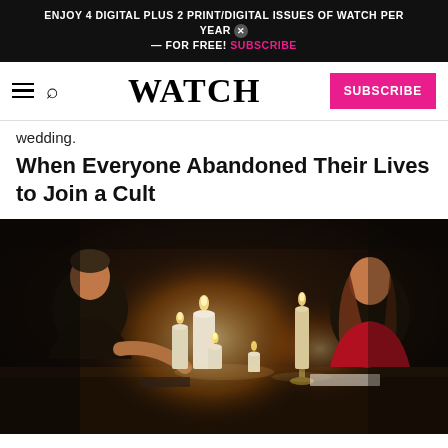ENJOY 4 DIGITAL PLUS 2 PRINT/DIGITAL ISSUES OF WATCH PER YEAR — FOR FREE! SUBSCRIBE
WATCH | SUBSCRIBE
wedding.
When Everyone Abandoned Their Lives to Join a Cult
[Figure (photo): Two people sitting across from each other at a table lit by multiple candles in a dark setting. A man on the left faces a woman in a red top on the right.]